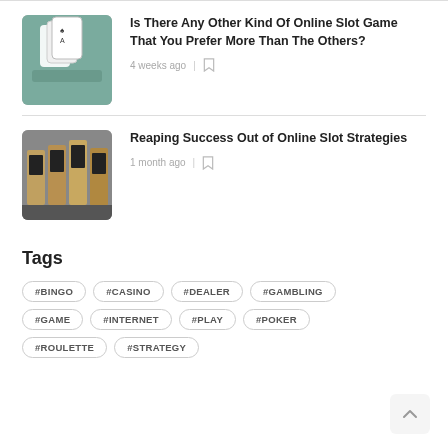[Figure (photo): Hand holding playing cards]
Is There Any Other Kind Of Online Slot Game That You Prefer More Than The Others?
4 weeks ago
[Figure (photo): Row of slot machines in a casino]
Reaping Success Out of Online Slot Strategies
1 month ago
Tags
#BINGO
#CASINO
#DEALER
#GAMBLING
#GAME
#INTERNET
#PLAY
#POKER
#ROULETTE
#STRATEGY